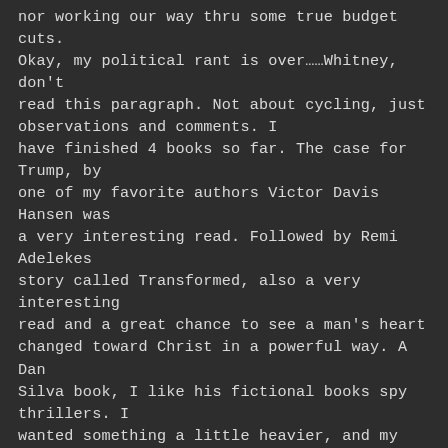nor working our way thru some true budget cuts. Okay, my political rant is over......Whitney, don't read this paragraph. Not about cycling, just observations and comments. I have finished 4 books so far. The case for Trump, by one of my favorite authors Victor Davis Hansen was a very interesting read. Followed by Remi Adelekes story called Transformed, also a very interesting read and a great chance to see a man's heart changed toward Christ in a powerful way. A Dan Silva book, I like his fictional books spy thrillers. I wanted something a little heavier, and my son suggested Fountainhead by Ayn Rand – I have this book but not read it yet. I did also download another book by Ayn Rand, called We the Living. I really think that if you have a brain numbed adolescent with ripped skinny Jean's sitting on the couch exercising his thumbs, slap him, then hand him this book. So many of the young ( of which I am one-young that is) feel that Red Bernie Sanders has the answers to their problems. Dang, they need to read